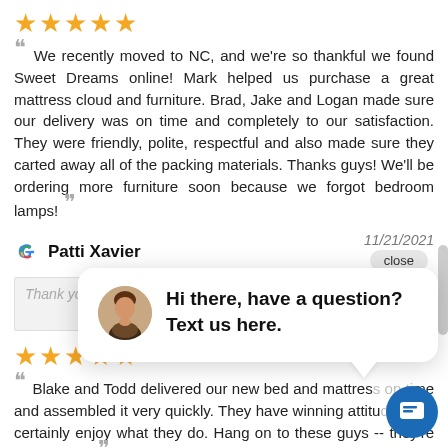[Figure (other): Five gold star rating icons]
We recently moved to NC, and we're so thankful we found Sweet Dreams online! Mark helped us purchase a great mattress cloud and furniture. Brad, Jake and Logan made sure our delivery was on time and completely to our satisfaction. They were friendly, polite, respectful and also made sure they carted away all of the packing materials. Thanks guys! We'll be ordering more furniture soon because we forgot bedroom lamps!
Patti Xavier — 11/21/2021
close
Thank you Patti!
[Figure (other): Five gold star rating icons (second review)]
Blake and Todd delivered our new bed and mattress on time and assembled it very quickly. They have winning attitudes and certainly enjoy what they do. Hang on to these guys -- they're really good.
[Figure (other): Chat popup widget with avatar photo and text: Hi there, have a question? Text us here.]